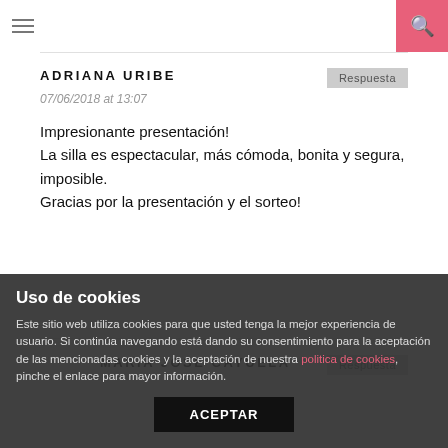≡  🔍
ADRIANA URIBE
07/06/2018 at 13:07

Impresionante presentación!
La silla es espectacular, más cómoda, bonita y segura, imposible.
Gracias por la presentación y el sorteo!
MARIA JOSE CAYUELA
Uso de cookies

Este sitio web utiliza cookies para que usted tenga la mejor experiencia de usuario. Si continúa navegando está dando su consentimiento para la aceptación de las mencionadas cookies y la aceptación de nuestra politica de cookies, pinche el enlace para mayor información.

ACEPTAR